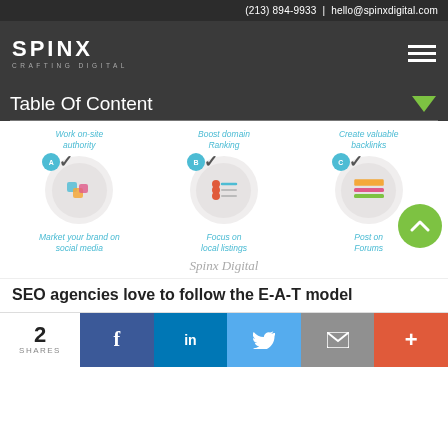(213) 894-9933 | hello@spinxdigital.com
[Figure (logo): SPINX Digital logo with text CRAFTING DIGITAL and hamburger menu icon]
Table Of Content
[Figure (infographic): 6-item infographic grid: Work on-site authority, Boost domain Ranking, Create valuable backlinks, Market your brand on social media, Focus on local listings, Post on Forums. Each item has a circular icon with a checkmark badge. Spinx Digital signature at bottom. Green scroll-to-top button.]
SEO agencies love to follow the E-A-T model
2 SHARES | Facebook | LinkedIn | Twitter | Email | Plus